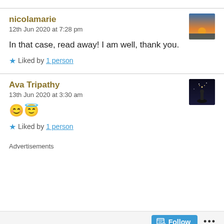nicolamarie
12th Jun 2020 at 7:28 pm
In that case, read away! I am well, thank you.
★ Liked by 1 person
Ava Tripathy
13th Jun 2020 at 3:30 am
😊😇
★ Liked by 1 person
Advertisements
Follow ...